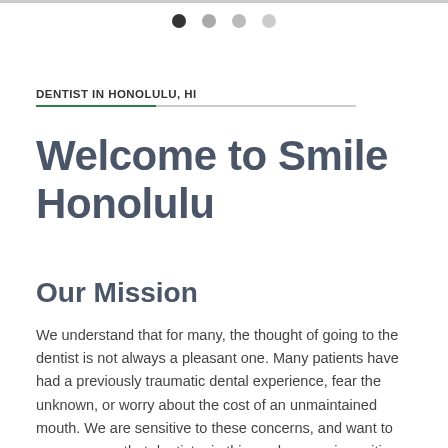● ○ ○ ○
DENTIST IN HONOLULU, HI
Welcome to Smile Honolulu
Our Mission
We understand that for many, the thought of going to the dentist is not always a pleasant one. Many patients have had a previously traumatic dental experience, fear the unknown, or worry about the cost of an unmaintained mouth. We are sensitive to these concerns, and want to reassure you that dentistry in this modern age is exciting and the possibilities are endless! At Smile Honolulu, we